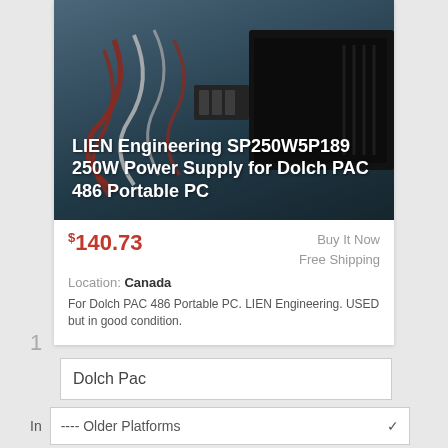[Figure (photo): Photo of LIEN Engineering SP250W5P189 250W power supply unit with colorful wires (red, white) against a dark background, with white overlaid text showing the product title.]
LIEN Engineering SP250W5P189 250W Power Supply for Dolch PAC 486 Portable PC
$140.73  Buy It Now  Free Shipping
Location: Canada
For Dolch PAC 486 Portable PC. LIEN Engineering. USED but in good condition.
1
Dolch Pac
In  ---- Older Platforms